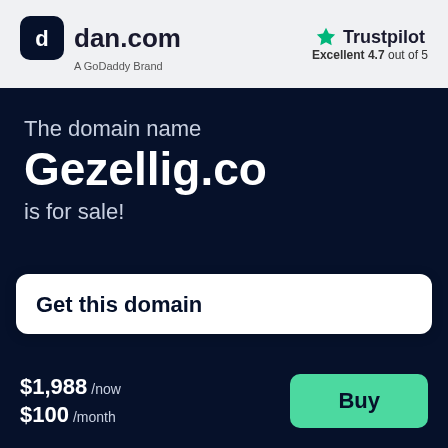[Figure (logo): dan.com logo with dark rounded square icon and 'A GoDaddy Brand' subtitle]
[Figure (logo): Trustpilot logo with green star and 'Excellent 4.7 out of 5' rating]
The domain name Gezellig.co is for sale!
Get this domain
$1,988 /now $100 /month